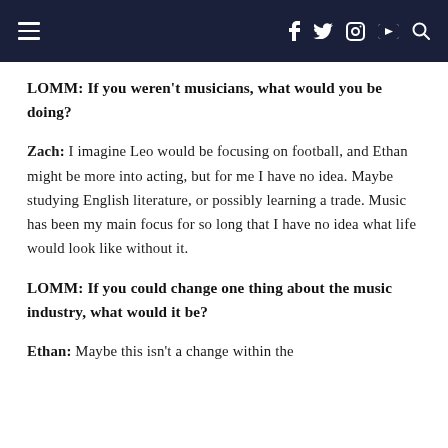Navigation bar with hamburger menu, social icons (f, twitter, instagram, youtube) and search
LOMM: If you weren't musicians, what would you be doing?
Zach: I imagine Leo would be focusing on football, and Ethan might be more into acting, but for me I have no idea. Maybe studying English literature, or possibly learning a trade. Music has been my main focus for so long that I have no idea what life would look like without it.
LOMM: If you could change one thing about the music industry, what would it be?
Ethan: Maybe this isn't a change within the